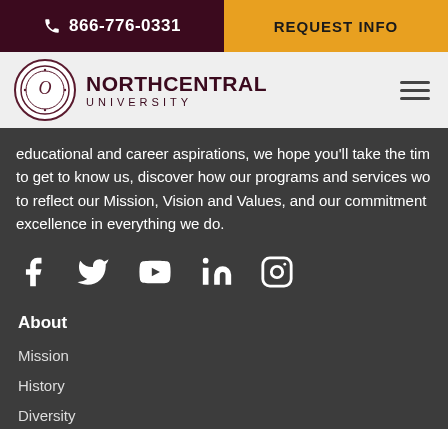866-776-0331 | REQUEST INFO
[Figure (logo): Northcentral University logo with circular seal and text NORTHCENTRAL UNIVERSITY]
educational and career aspirations, we hope you'll take the time to get to know us, discover how our programs and services work to reflect our Mission, Vision and Values, and our commitment to excellence in everything we do.
[Figure (infographic): Social media icons: Facebook, Twitter, YouTube, LinkedIn, Instagram]
About
Mission
History
Diversity